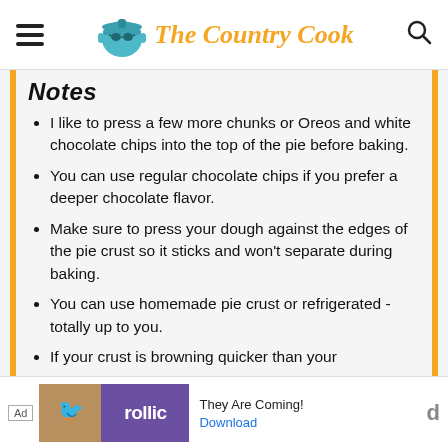[Figure (logo): The Country Cook website header logo with hamburger menu, teal cooking pot with glasses icon, orange italic script text 'The Country Cook', and search magnifying glass icon]
Notes
I like to press a few more chunks or Oreos and white chocolate chips into the top of the pie before baking.
You can use regular chocolate chips if you prefer a deeper chocolate flavor.
Make sure to press your dough against the edges of the pie crust so it sticks and won't separate during baking.
You can use homemade pie crust or refrigerated - totally up to you.
If your crust is browning quicker than your
[Figure (screenshot): Advertisement banner: Ad label, Rollic game app ad with purple logo and text 'They Are Coming!' and Download link]